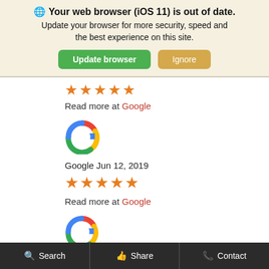[Figure (screenshot): Browser update notification banner: globe icon, bold text 'Your web browser (iOS 11) is out of date.', subtitle text, and two buttons: 'Update browser' (green) and 'Ignore' (tan)]
[Figure (screenshot): Partial orange star rating row]
Read more at Google
[Figure (logo): Google G logo (colorful)]
Google Jun 12, 2019
[Figure (screenshot): Five orange stars rating]
Read more at Google
[Figure (logo): Google G logo (colorful)]
Google Jun 6, 2019
[Figure (screenshot): Five orange stars rating]
good and fast service
[Figure (screenshot): Live Chat and Text Us floating buttons]
Search   Share   Contact